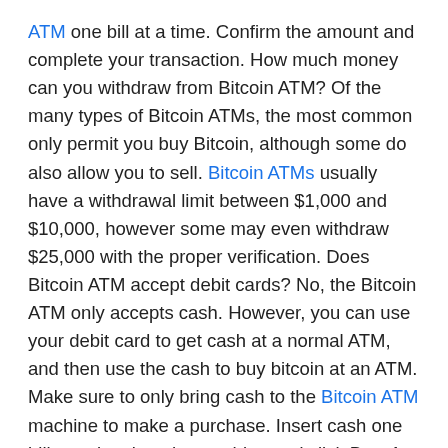ATM one bill at a time. Confirm the amount and complete your transaction. How much money can you withdraw from Bitcoin ATM? Of the many types of Bitcoin ATMs, the most common only permit you buy Bitcoin, although some do also allow you to sell. Bitcoin ATMs usually have a withdrawal limit between $1,000 and $10,000, however some may even withdraw $25,000 with the proper verification. Does Bitcoin ATM accept debit cards? No, the Bitcoin ATM only accepts cash. However, you can use your debit card to get cash at a normal ATM, and then use the cash to buy bitcoin at an ATM. Make sure to only bring cash to the Bitcoin ATM machine to make a purchase. Insert cash one bill at a time into the machine and click Buy. Are Bitcoin ATMs safe? Yes, Bitcoin ATMs are a secure way to purchase Bitcoin with cash instantly. Bitcoin is sent to the Bitcoin wallet you scan at the machine for the purchase. How do I find a Bitcoin ATM near me? To find a Bitcoin ATM near me, you can use the Bitcoin ATM Locations Map which shows Bitcoin machine locations. You can input your location to find the nearest Bitcoin ATM and get directions to this machine.